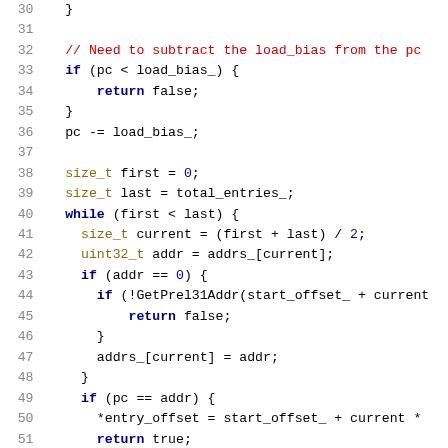[Figure (screenshot): Source code snippet in C++ showing lines 30-51 of a function. Lines include closing brace, comments about load_bias subtraction, conditional checks, binary search loop with size_t and uint32_t variables, GetPrel31Addr calls, and address/offset computations.]